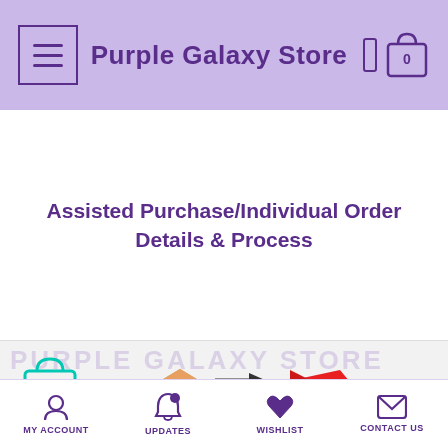Purple Galaxy Store
Assisted Purchase/Individual Order Details & Process
[Figure (screenshot): Purple Galaxy Store banner with shopping bag icon, box, airplane, and 'shipped' text]
MY ACCOUNT | UPDATES | WISHLIST | CONTACT US